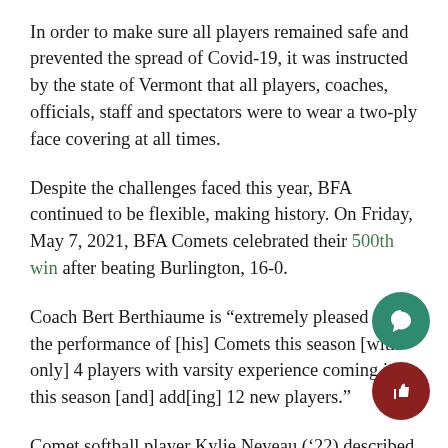In order to make sure all players remained safe and prevented the spread of Covid-19, it was instructed by the state of Vermont that all players, coaches, officials, staff and spectators were to wear a two-ply face covering at all times.
Despite the challenges faced this year, BFA continued to be flexible, making history. On Friday, May 7, 2021, BFA Comets celebrated their 500th win after beating Burlington, 16-0.
Coach Bert Berthiaume is “extremely pleased with the performance of [his] Comets this season [with only] 4 players with varsity experience coming into this season [and] add[ing] 12 new players.”
Comet softball player Kylie Neveau (’22) described this moment as “a memory [she] will never forget.”
To celebrate their big win, the Comets received 500 wi…